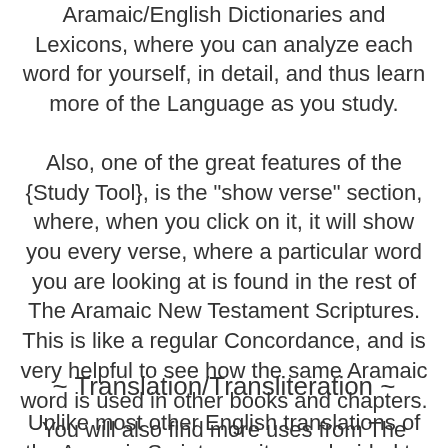Aramaic/English Dictionaries and Lexicons, where you can analyze each word for yourself, in detail, and thus learn more of the Language as you study.
Also, one of the great features of the {Study Tool}, is the "show verse" section, where, when you click on it, it will show you every verse, where a particular word you are looking at is found in the rest of The Aramaic New Testament Scriptures. This is like a regular Concordance, and is very helpful to see how the same Aramaic word is used in other books and chapters. You will also find more uses from The Study Tool as you delve deeper into its features.
~ Translation/Transliteration ~
Unlike most other English translations of the Aramaic Scriptures, it was decided to make a